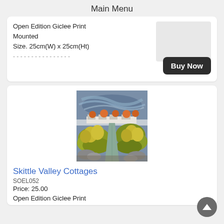Main Menu
Open Edition Giclee Print
Mounted
Size. 25cm(W) x 25cm(Ht)
Buy Now
[Figure (illustration): Painting of Skittle Valley Cottages: a rural landscape with swirling blue-grey sky, row of white cottages with orange-topped trees in background, yellow-green trees and fields in foreground with a winding path]
Skittle Valley Cottages
SOEL052
Price: 25.00
Open Edition Giclee Print